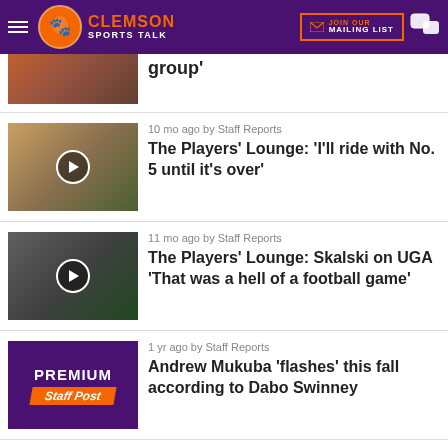Clemson Sports Talk - JOIN OUR MAILING LIST
group'
10 mo ago by Staff Reports
The Players' Lounge: 'I'll ride with No. 5 until it's over'
11 mo ago by Staff Reports
The Players' Lounge: Skalski on UGA 'That was a hell of a football game'
1 yr ago by Staff Reports
Andrew Mukuba 'flashes' this fall according to Dabo Swinney
1 yr ago by Staff Reports
Brent Venables says Clemson's defense has 'a lot of gym-rat' type guys
1 yr ago by Tyrece Ingram